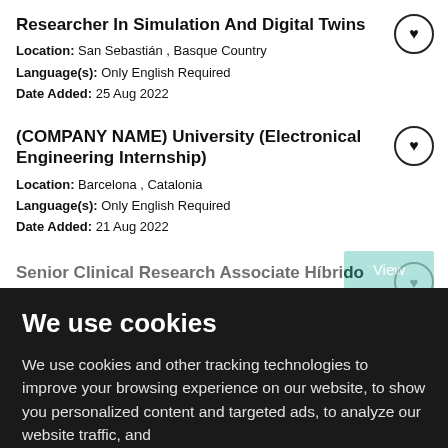Researcher In Simulation And Digital Twins
Location: San Sebastián , Basque Country
Language(s): Only English Required
Date Added: 25 Aug 2022
(COMPANY NAME) University (Electronical Engineering Internship)
Location: Barcelona , Catalonia
Language(s): Only English Required
Date Added: 21 Aug 2022
Senior Clinical Research Associate Híbrido
We use cookies
We use cookies and other tracking technologies to improve your browsing experience on our website, to show you personalized content and targeted ads, to analyze our website traffic, and